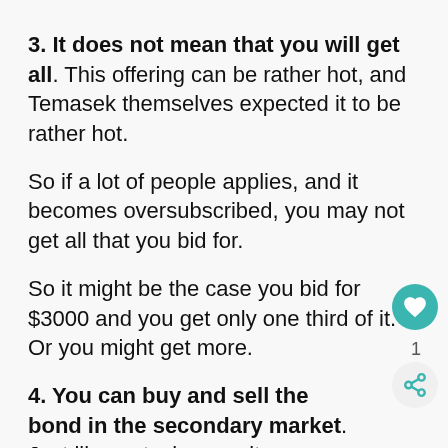3. It does not mean that you will get all. This offering can be rather hot, and Temasek themselves expected it to be rather hot.
So if a lot of people applies, and it becomes oversubscribed, you may not get all that you bid for.
So it might be the case you bid for $3000 and you get only one third of it. Or you might get more.
4. You can buy and sell the bond in the secondary market. Just like a stock, once it